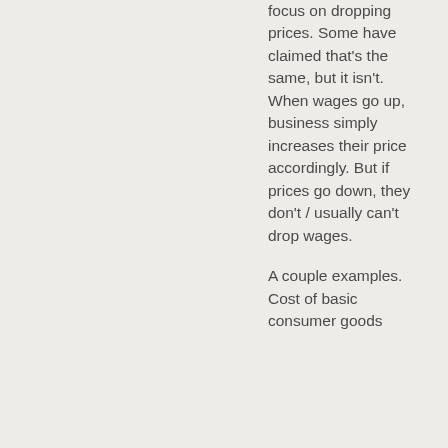focus on dropping prices. Some have claimed that's the same, but it isn't. When wages go up, business simply increases their price accordingly. But if prices go down, they don't / usually can't drop wages.
A couple examples. Cost of basic consumer goods